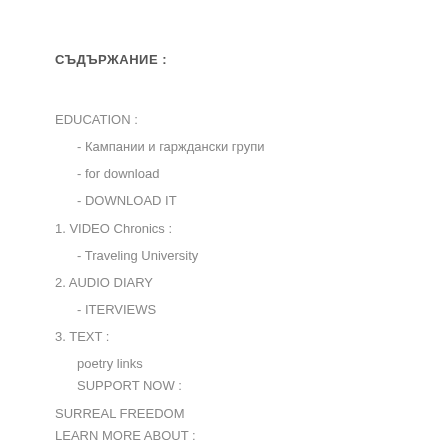СЪДЪРЖАНИЕ :
EDUCATION :
- Кампании и гарждански групи
- for download
- DOWNLOAD IT
1. VIDEO Chronics :
- Traveling University
2. AUDIO DIARY
- ITERVIEWS
3. TEXT :
poetry links
SUPPORT NOW :
SURREAL FREEDOM
LEARN MORE ABOUT :
- Civic Forum
- Алтернативна култура